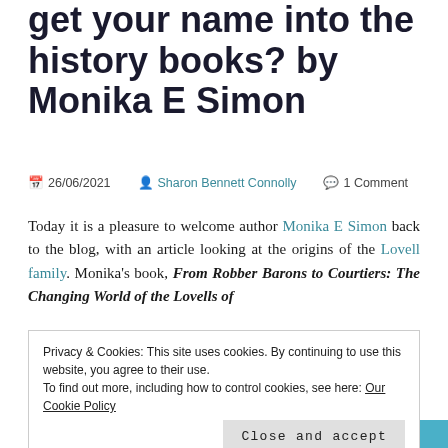get your name into the history books? by Monika E Simon
📅 26/06/2021  👤 Sharon Bennett Connolly  💬 1 Comment
Today it is a pleasure to welcome author Monika E Simon back to the blog, with an article looking at the origins of the Lovell family. Monika's book, From Robber Barons to Courtiers: The Changing World of the Lovells of
Privacy & Cookies: This site uses cookies. By continuing to use this website, you agree to their use.
To find out more, including how to control cookies, see here: Our Cookie Policy
In my